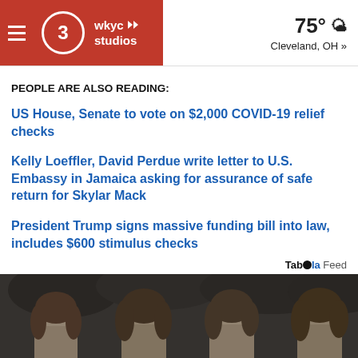WKYC Studios — 75° Cleveland, OH »
PEOPLE ARE ALSO READING:
US House, Senate to vote on $2,000 COVID-19 relief checks
Kelly Loeffler, David Perdue write letter to U.S. Embassy in Jamaica asking for assurance of safe return for Skylar Mack
President Trump signs massive funding bill into law, includes $600 stimulus checks
Taboola Feed
[Figure (photo): Black and white photo showing four people with long hair facing camera, outdoor background with trees]